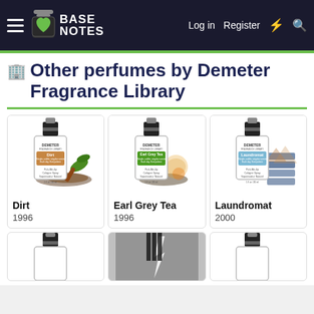Base Notes — Log in | Register
Other perfumes by Demeter Fragrance Library
[Figure (photo): Demeter Dirt perfume bottle with dirt and leaves background]
Dirt
1996
[Figure (photo): Demeter Earl Grey Tea perfume bottle with tea and lemon background]
Earl Grey Tea
1996
[Figure (photo): Demeter Laundromat perfume bottle with folded jeans background]
Laundromat
2000
[Figure (photo): Partial view of three more perfume cards at bottom of page]